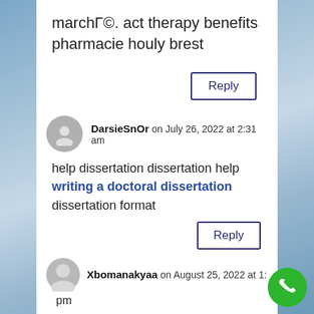marchΓ©. act therapy benefits pharmacie houly brest
Reply
DarsieSnOr on July 26, 2022 at 2:31 am
help dissertation dissertation help writing a doctoral dissertation dissertation format
Reply
Xbomanakyaa on August 25, 2022 at 1: pm